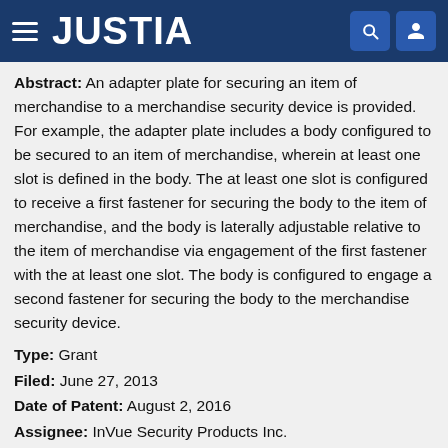JUSTIA
Abstract: An adapter plate for securing an item of merchandise to a merchandise security device is provided. For example, the adapter plate includes a body configured to be secured to an item of merchandise, wherein at least one slot is defined in the body. The at least one slot is configured to receive a first fastener for securing the body to the item of merchandise, and the body is laterally adjustable relative to the item of merchandise via engagement of the first fastener with the at least one slot. The body is configured to engage a second fastener for securing the body to the merchandise security device.
Type: Grant
Filed: June 27, 2013
Date of Patent: August 2, 2016
Assignee: InVue Security Products Inc.
Inventors: Barry John Green, Larry T. McKinney, Robert